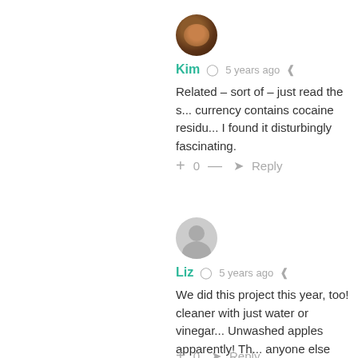[Figure (photo): Circular avatar photo of user Kim, showing a woman's face with brown tones]
Kim  5 years ago
Related – sort of – just read the s... currency contains cocaine residu... I found it disturbingly fascinating.
+ 0 —   Reply
[Figure (illustration): Generic gray circular avatar icon for user Liz]
Liz  5 years ago
We did this project this year, too! cleaner with just water or vinegar... Unwashed apples apparently! Th... anyone else wants to try this: we on an extension cord for our incu...
+ 0   Reply